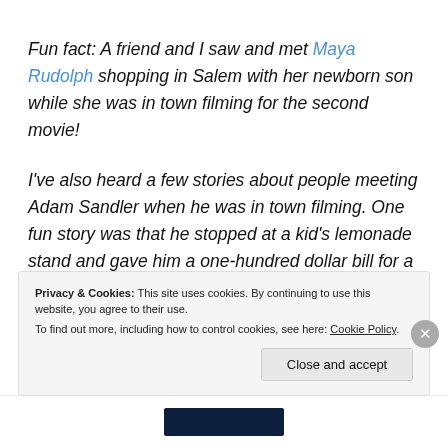Fun fact: A friend and I saw and met Maya Rudolph shopping in Salem with her newborn son while she was in town filming for the second movie!
I've also heard a few stories about people meeting Adam Sandler when he was in town filming. One fun story was that he stopped at a kid's lemonade stand and gave him a one-hundred dollar bill for a cup of lemonade. Not sure if it's true,
Privacy & Cookies: This site uses cookies. By continuing to use this website, you agree to their use. To find out more, including how to control cookies, see here: Cookie Policy